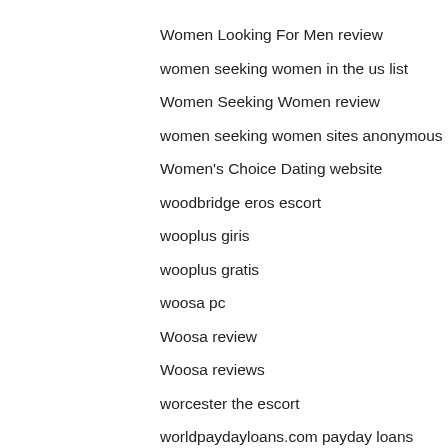Women Looking For Men review
women seeking women in the us list
Women Seeking Women review
women seeking women sites anonymous
Women's Choice Dating website
woodbridge eros escort
wooplus giris
wooplus gratis
woosa pc
Woosa review
Woosa reviews
worcester the escort
worldpaydayloans.com payday loans
worldpaydayloans.com payday loans for bad credit
worldpaydayloans.com payday loans near me
write my paper 4 me
writing a scientific research paper
Wyoming payday loans